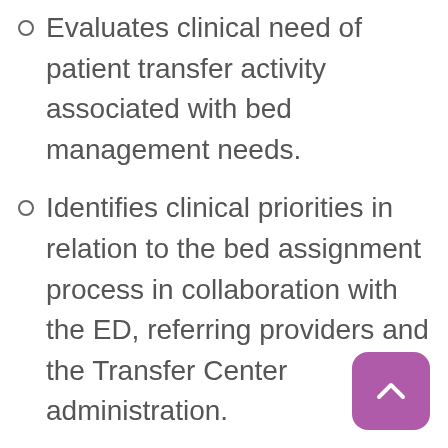Evaluates clinical need of patient transfer activity associated with bed management needs.
Identifies clinical priorities in relation to the bed assignment process in collaboration with the ED, referring providers and the Transfer Center administration.
Develop effective